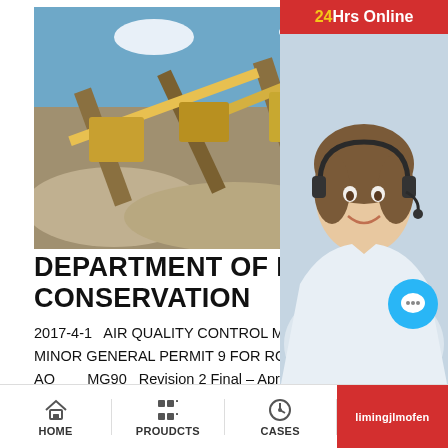[Figure (photo): Industrial rock crusher / quarry machinery with conveyor belts and piles of crushed stone, blue sky background]
DEPARTMENT OF ENVIRONMENTAL CONSERVATION
2017-4-1   AIR QUALITY CONTROL MINOR GE[NERAL PERMIT] MINOR GENERAL PERMIT 9 FOR ROCK CRUS[HER] AQ____MG90_ Revision 2 Final – April 1, 2017 T[his] permit is to be used for the construction, operatio[n of] the rock crusher described below, which has a ra[ted capacity of at] least five tons per hour, as described in
More
[Figure (photo): Industrial conveyor belt and quarry processing equipment with yellow machinery]
[Figure (photo): Customer service agent woman with headset smiling, with 24Hrs Online overlay and chat interface]
HOME   PROUDCTS   CASES   limingjlmofen